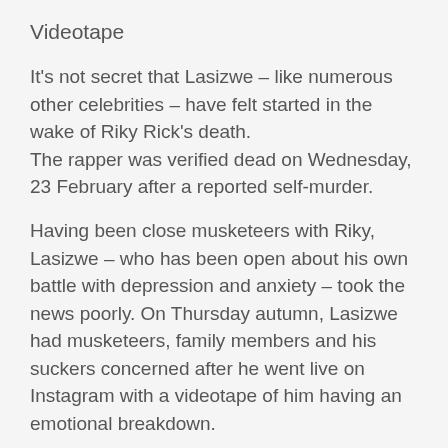Videotape
It's not secret that Lasizwe – like numerous other celebrities – have felt started in the wake of Riky Rick's death.
The rapper was verified dead on Wednesday, 23 February after a reported self-murder.
Having been close musketeers with Riky, Lasizwe – who has been open about his own battle with depression and anxiety – took the news poorly. On Thursday autumn, Lasizwe had musketeers, family members and his suckers concerned after he went live on Instagram with a videotape of him having an emotional breakdown.
Lasizwe was drawing his pool when he putatively